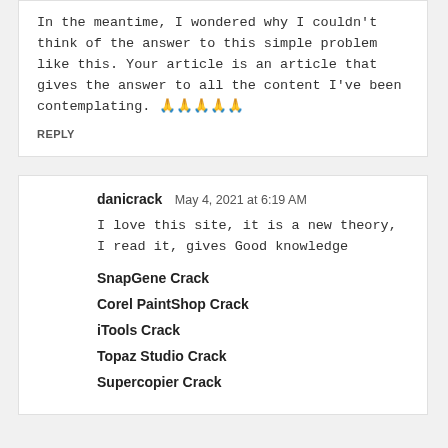In the meantime, I wondered why I couldn't think of the answer to this simple problem like this. Your article is an article that gives the answer to all the content I've been contemplating. 🙏🙏🙏🙏🙏
REPLY
[Figure (logo): Orange circular Blogger avatar icon with white 'B' letter]
danicrack  May 4, 2021 at 6:19 AM
I love this site, it is a new theory, I read it, gives Good knowledge
SnapGene Crack
Corel PaintShop Crack
iTools Crack
Topaz Studio Crack
Supercopier Crack